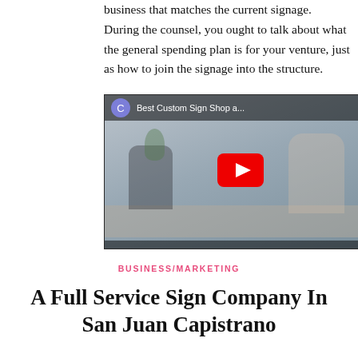business that matches the current signage. During the counsel, you ought to talk about what the general spending plan is for your venture, just as how to join the signage into the structure.
[Figure (screenshot): YouTube video embed thumbnail showing two people working at a desk, with a YouTube play button overlay. Video title bar reads 'Best Custom Sign Shop a...' with a channel avatar showing 'C'.]
BUSINESS/MARKETING
A Full Service Sign Company In San Juan Capistrano